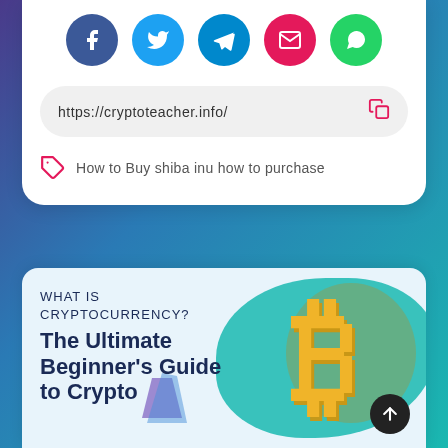[Figure (screenshot): Social media share buttons: Facebook (blue), Twitter (light blue), Telegram (blue), Email (pink), WhatsApp (green)]
https://cryptoteacher.info/
How to Buy shiba inu how to purchase
[Figure (infographic): Cryptocurrency beginner's guide banner with gold Bitcoin symbol and text: WHAT IS CRYPTOCURRENCY? The Ultimate Beginner's Guide to Crypto]